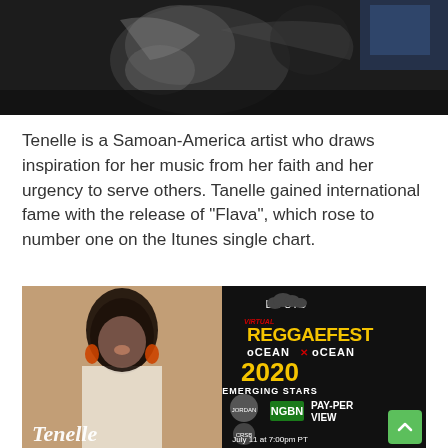[Figure (photo): Black and white photo of a person dancing or posing, cropped at top]
Tenelle is a Samoan-America artist who draws inspiration for her music from her faith and her urgency to serve others. Tanelle gained international fame with the release of "Flava", which rose to number one on the Itunes single chart.
[Figure (photo): Promotional image for Lucid Virtual ReggaeFest Ocean x Ocean 2020 Emerging Stars event, featuring a woman with dark hair and orange earrings, NGBN Pay-Per View, Jordan and CRSB logos, July 11 at 7:00pm PT, and the Tenelle logo]